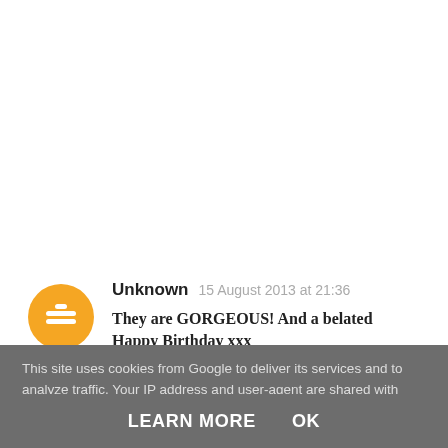Unknown  15 August 2013 at 21:36
They are GORGEOUS! And a belated Happy Birthday xxx
This site uses cookies from Google to deliver its services and to analyze traffic. Your IP address and user-agent are shared with Google along with performance and security metrics to ensure quality of service, generate usage statistics, and to detect and address abuse.
LEARN MORE    OK